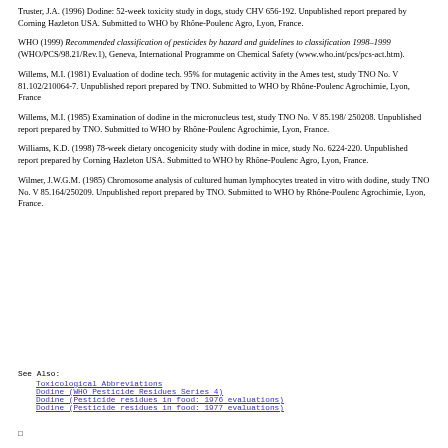Truster, J.A. (1996) Dodine: 52-week toxicity study in dogs, study CHV 656-192. Unpublished report prepared by Corning Hazleton USA. Submitted to WHO by Rhône-Poulenc Agro, Lyon, France.
WHO (1999) Recommended classification of pesticides by hazard and guidelines to classification 1998–1999 (WHO/PCS/98.21/Rev.1), Geneva, International Programme on Chemical Safety (www.who.int/pcs/pcs-act.htm).
Willems, M.I. (1981) Evaluation of dodine tech. 95% for mutagenic activity in the Ames test, study TNO No. V 81.102/210064-7. Unpublished report prepared by TNO. Submitted to WHO by Rhône-Poulenc Agrochimie, Lyon, France
Willems, M.I. (1985) Examination of dodine in the micronucleus test, study TNO No. V 85.198/ 250208. Unpublished report prepared by TNO. Submitted to WHO by Rhône-Poulenc Agrochimie, Lyon, France.
Williams, K.D. (1998) 78-week dietary oncogenicity study with dodine in mice, study No. 6224-220. Unpublished report prepared by Corning Hazleton USA. Submitted to WHO by Rhône-Poulenc Agro, Lyon, France.
Wilmer, J.W.G.M. (1985) Chromosome analysis of cultured human lymphocytes treated in vitro with dodine, study TNO No. V 85.164/250209. Unpublished report prepared by TNO. Submitted to WHO by Rhône-Poulenc Agrochimie, Lyon, France.
See Also:
    Toxicological Abbreviations
    Dodine (WHO Pesticide Residues Series 4)
    Dodine (Pesticide residues in food: 1976 evaluations)
    Dodine (Pesticide residues in food: 1977 evaluations)
◻